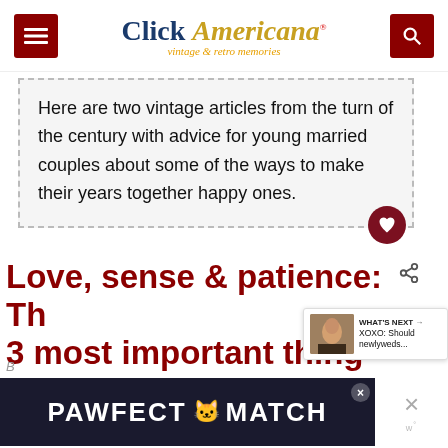Click Americana — vintage & retro memories
Here are two vintage articles from the turn of the century with advice for young married couples about some of the ways to make their years together happy ones.
Love, sense & patience: Th 3 most important things for a happy marriage (190)
[Figure (screenshot): WHAT'S NEXT panel showing XOXO: Should newlyweds... article thumbnail]
[Figure (screenshot): PAWFECT MATCH advertisement banner with cat graphic]